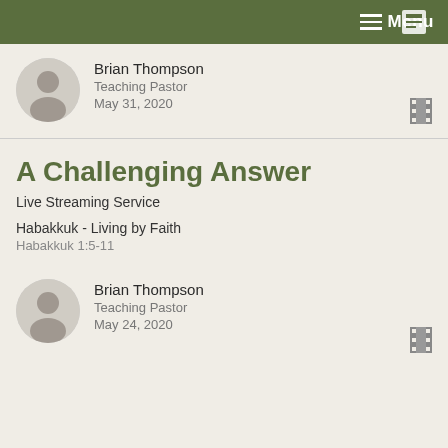Menu
[Figure (photo): Circular headshot photo of Brian Thompson, a middle-aged man with glasses]
Brian Thompson
Teaching Pastor
May 31, 2020
[Figure (other): Film strip icon]
A Challenging Answer
Live Streaming Service
Habakkuk - Living by Faith
Habakkuk 1:5-11
[Figure (photo): Circular headshot photo of Brian Thompson, a middle-aged man with glasses]
Brian Thompson
Teaching Pastor
May 24, 2020
[Figure (other): Film strip icon]